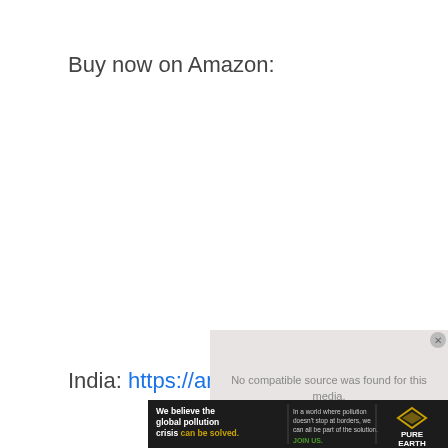Buy now on Amazon:
India: https://amzn.to/2miGBMm
[Figure (other): Video player overlay showing 'No compatible source was found for this media.' error message with close button, on a light grey background]
[Figure (other): Pure Earth advertisement banner with text 'We believe the global pollution crisis can be solved.' and 'In a world where pollution doesn't stop at borders, we can all be part of the solution. JOIN US.' with Pure Earth logo]